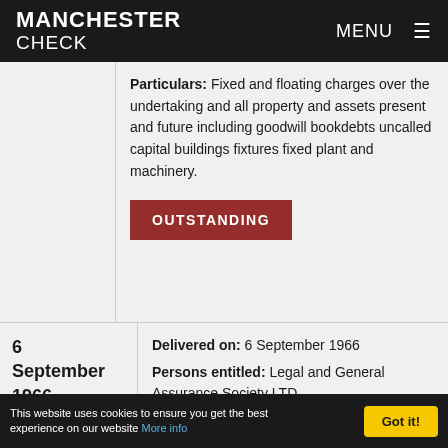MANCHESTER CHECK | MENU
Particulars: Fixed and floating charges over the undertaking and all property and assets present and future including goodwill bookdebts uncalled capital buildings fixtures fixed plant and machinery.
OUTSTANDING
6 September 1966
Delivered on: 6 September 1966
Persons entitled: Legal and General Assurance Society LTD
Classification: Trust deed
Secured details: Debenture stock of renold chains LTD amounting to £3,000,000.
This website uses cookies to ensure you get the best experience on our website More info | Got it!